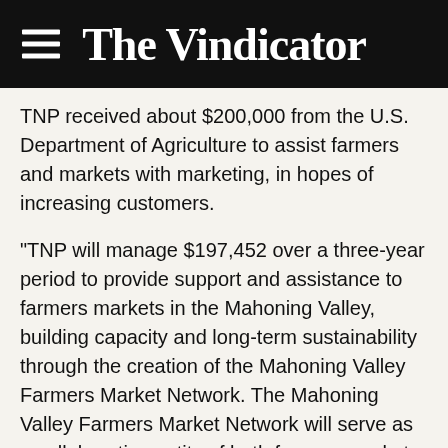The Vindicator
TNP received about $200,000 from the U.S. Department of Agriculture to assist farmers and markets with marketing, in hopes of increasing customers.
“TNP will manage $197,452 over a three-year period to provide support and assistance to farmers markets in the Mahoning Valley, building capacity and long-term sustainability through the creation of the Mahoning Valley Farmers Market Network. The Mahoning Valley Farmers Market Network will serve as a collaborative entity of both farmers market managers and vendors and will promote best practices in marketing and food safety in support of the overall farmers market system in the Mahoning Valley. Through this project, markets will be able to